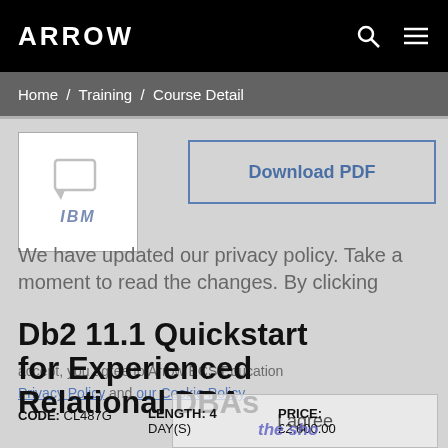ARROW
Home / Training / Course Detail
[Figure (logo): IBM logo box with chat icon and IBM text]
Download PDF
We have updated our privacy policy. Take a moment to read the changes. By clicking accept, you agree to Arrow ECS Education Privacy Policy and our Cookie Policy.
Db2 11.1 Quickstart for Experienced Relational DBAs
I agree
CODE: CL487G   LENGTH: 4 DAY(S)   PRICE: £2,600.00